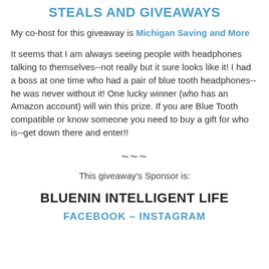STEALS AND GIVEAWAYS
My co-host for this giveaway is Michigan Saving and More
It seems that I am always seeing people with headphones talking to themselves--not really but it sure looks like it! I had a boss at one time who had a pair of blue tooth headphones--he was never without it! One lucky winner (who has an Amazon account) will win this prize. If you are Blue Tooth compatible or know someone you need to buy a gift for who is--get down there and enter!!
~~~
This giveaway's Sponsor is:
BLUENIN INTELLIGENT LIFE
FACEBOOK – INSTAGRAM